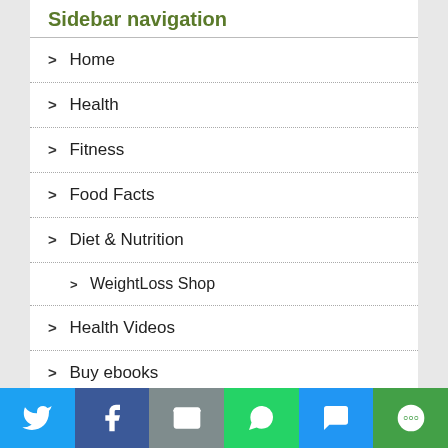Sidebar navigation
> Home
> Health
> Fitness
> Food Facts
> Diet & Nutrition
> WeightLoss Shop
> Health Videos
> Buy ebooks
> Privacy Policy
> Sitemap
Categories
[Figure (infographic): Social share bar with Twitter, Facebook, Email, WhatsApp, SMS, and More buttons]